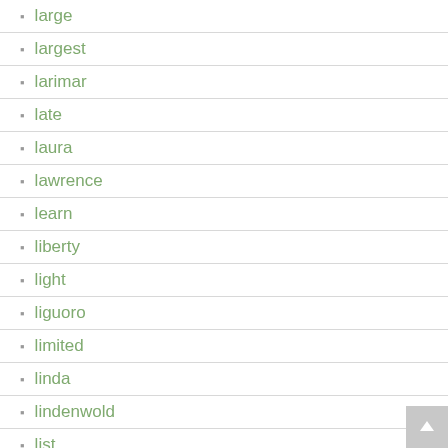large
largest
larimar
late
laura
lawrence
learn
liberty
light
liguoro
limited
linda
lindenwold
list